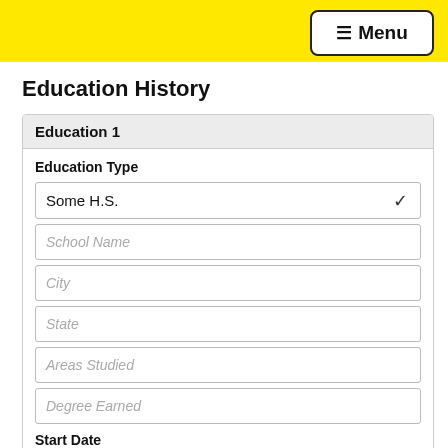Menu
Education History
Education 1
Education Type
Some H.S.
School Name
City
State
Areas Studied
Degree Earned
Start Date